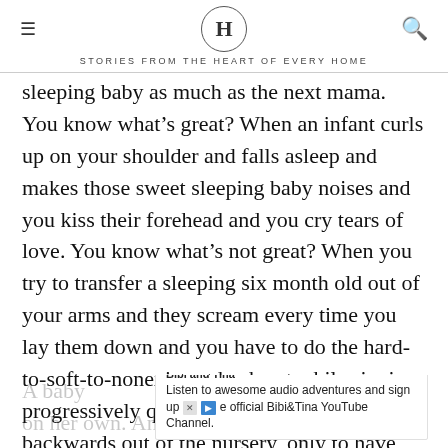H — STORIES FROM THE HEART OF EVERY HOME
sleeping baby as much as the next mama. You know what's great? When an infant curls up on your shoulder and falls asleep and makes those sweet sleeping baby noises and you kiss their forehead and you cry tears of love. You know what's not great? When you try to transfer a sleeping six month old out of your arms and they scream every time you lay them down and you have to do the hard-to-soft-to-nonexistent back pat while singing progressively quieter and stealthily walking backwards out of the nursery, only to have them cry as soon as the door clicks shut.
A baby … to fall asleep on her own. And a baby that falls asleep on her